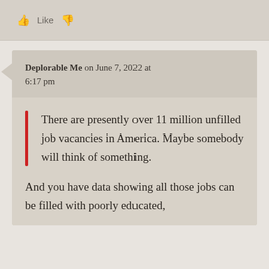[Figure (screenshot): Like and dislike thumbs icons with text 'Like']
Deplorable Me on June 7, 2022 at 6:17 pm
There are presently over 11 million unfilled job vacancies in America. Maybe somebody will think of something.
And you have data showing all those jobs can be filled with poorly educated,